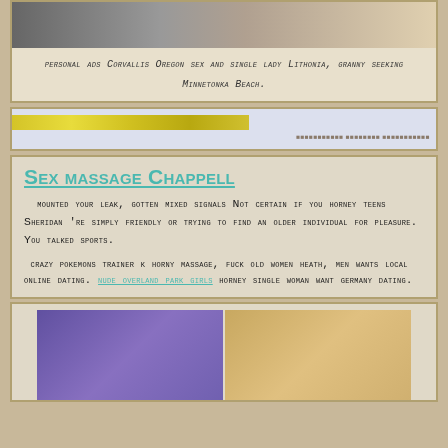[Figure (photo): Top photo strip showing two people, cropped at top]
personal ads Corvallis Oregon sex and single lady Lithonia, granny seeking Minnetonka Beach.
[Figure (other): Decorative divider bar with yellow banner and text]
Sex massage Chappell
mounted your leak, gotten mixed signals Not certain if you horney teens Sheridan 're simply friendly or trying to find an older individual for pleasure. You talked sports.
crazy pokemons trainer k horny massage, fuck old women heath, men wants local online dating. NUDE OVERLAND PARK GIRLS horney single woman want germany dating.
[Figure (photo): Bottom photo strip showing two people]